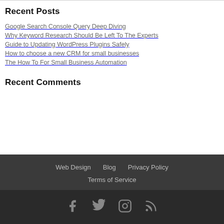Recent Posts
Google Search Console Query Deep Diving
Why Keyword Research Should Be Left To The Experts
Guide to Updating WordPress Plugins Safely
How to choose a new CRM for small businesses
The How To For Small Business Automation
Recent Comments
Web Design  Blog  Privacy Policy  Terms of Service
[Figure (other): Social media icons: Facebook, Twitter, Instagram, RSS feed]